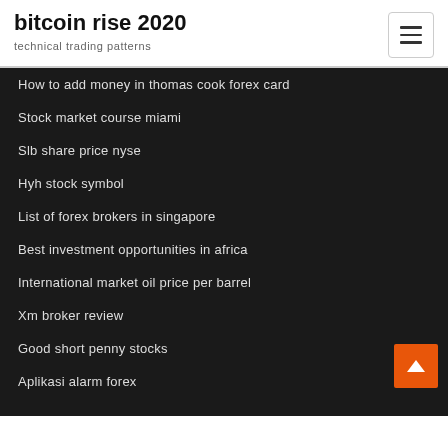bitcoin rise 2020
technical trading patterns
How to add money in thomas cook forex card
Stock market course miami
Slb share price nyse
Hyh stock symbol
List of forex brokers in singapore
Best investment opportunities in africa
International market oil price per barrel
Xm broker review
Good short penny stocks
Aplikasi alarm forex